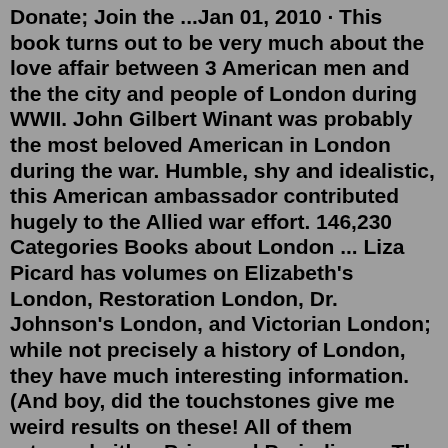Donate; Join the ...Jan 01, 2010 · This book turns out to be very much about the love affair between 3 American men and the the city and people of London during WWII. John Gilbert Winant was probably the most beloved American in London during the war. Humble, shy and idealistic, this American ambassador contributed hugely to the Allied war effort. 146,230 Categories Books about London ... Liza Picard has volumes on Elizabeth's London, Restoration London, Dr. Johnson's London, and Victorian London; while not precisely a history of London, they have much interesting information. (And boy, did the touchstones give me weird results on these! All of them returned either Price and Prejudice or The Complete Works of William Shakespeare!) Books with the subject: London. Up to 20 books are listed, in descending order of popularity. As an Amazon affiliate, WSIRN earns commissions from qualifying purchases 1984 Nineteen Eighty-Four George Orwell. Info/Buy. Neverwhere Neil Gaiman.